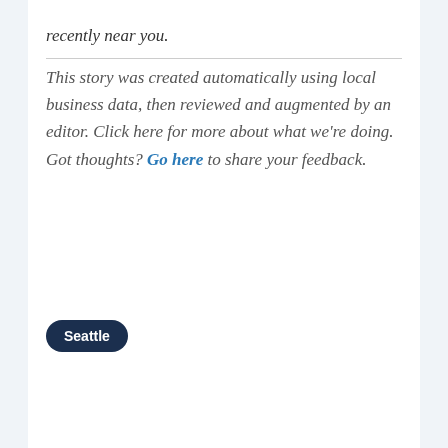recently near you.
This story was created automatically using local business data, then reviewed and augmented by an editor. Click here for more about what we're doing. Got thoughts? Go here to share your feedback.
Seattle